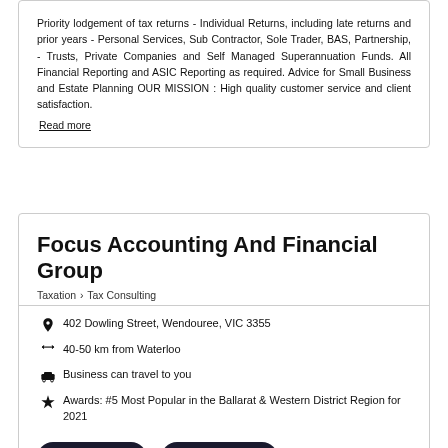Priority lodgement of tax returns - Individual Returns, including late returns and prior years - Personal Services, Sub Contractor, Sole Trader, BAS, Partnership, - Trusts, Private Companies and Self Managed Superannuation Funds. All Financial Reporting and ASIC Reporting as required. Advice for Small Business and Estate Planning OUR MISSION : High quality customer service and client satisfaction.
Read more
Focus Accounting And Financial Group
Taxation > Tax Consulting
402 Dowling Street, Wendouree, VIC 3355
40-50 km from Waterloo
Business can travel to you
Awards: #5 Most Popular in the Ballarat & Western District Region for 2021
Quote
Booking